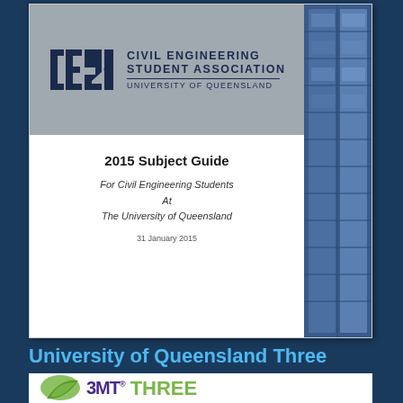[Figure (other): CESA (Civil Engineering Student Association, University of Queensland) 2015 Subject Guide cover page thumbnail, showing the CESA logo on a grey header, with document text 'For Civil Engineering Students At The University of Queensland, 31 January 2015', and a blue building photo on the right side.]
University of Queensland Three Minute Thesis | Current and Future
[Figure (logo): 3MT (Three Minute Thesis) logo with green leaf and purple/green text at the bottom of the page.]